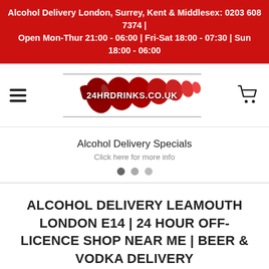Alcohol Delivery London, Surrey, Kent & Middlesex: 0203 608 7374 | Open Mon-Thur 21:00 - 06:00 | Fri-Sat 18:00 - 07:30 | Sun 18:00 - 06:00
[Figure (logo): 24HRDRINKS.CO.UK logo with red wine bottle graphic, flanked by thin horizontal rules, with hamburger menu icon on left and shopping cart icon on right]
Alcohol Delivery Specials
Click here for more info
ALCOHOL DELIVERY LEAMOUTH LONDON E14 | 24 HOUR OFF-LICENCE SHOP NEAR ME | BEER & VODKA DELIVERY